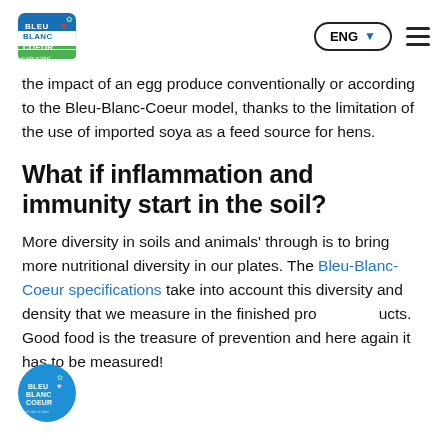Bleu Blanc Coeur | ENG | Navigation
the impact of an egg produce conventionally or according to the Bleu-Blanc-Coeur model, thanks to the limitation of the use of imported soya as a feed source for hens.
What if inflammation and immunity start in the soil?
More diversity in soils and animals' through is to bring more nutritional diversity in our plates. The Bleu-Blanc-Coeur specifications take into account this diversity and density that we measure in the finished products. Good food is the treasure of prevention and here again it has to be measured!